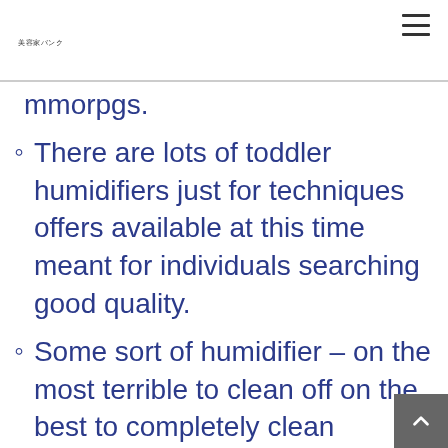美容家バンク
mmorpgs.
There are lots of toddler humidifiers just for techniques offers available at this time meant for individuals searching good quality.
Some sort of humidifier – on the most terrible to clean off on the best to completely clean humidifier – needs to be wiped clean twice or maybe 3x once a